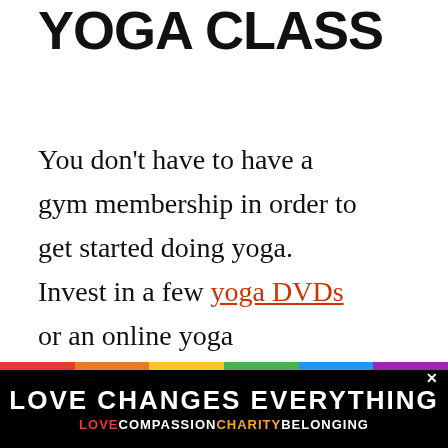YOGA CLASS
You don't have to have a gym membership in order to get started doing yoga.  Invest in a few yoga DVDs or an online yoga subscription service and start doing yoga in the privacy of you own home.  That way you d... have to feel intimidated but other p...
[Figure (other): Circular teal heart/save icon button]
[Figure (other): Circular share icon button]
[Figure (other): What's Next panel with thumbnail: Fun Gift Ideas for Teen Girls]
[Figure (other): LOVE CHANGES EVERYTHING advertisement banner with rainbow stripe and subtext LOVE COMPASSION CHARITY BELONGING]